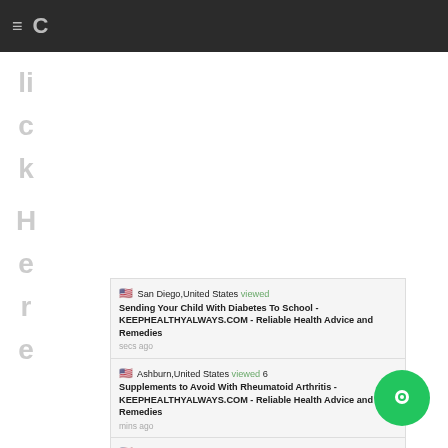≡  C
c
li
c
k
H
e
r
e
San Diego,United States viewed Sending Your Child With Diabetes To School - KEEPHEALTHYALWAYS.COM - Reliable Health Advice and Remedies secs ago
Ashburn,United States viewed 6 Supplements to Avoid With Rheumatoid Arthritis - KEEPHEALTHYALWAYS.COM - Reliable Health Advice and Remedies mins ago
San Diego,United States viewed Mental Activity is Important Too - KEEPHEALTHYALWAYS.COM - Reliable Health Advice and Remedies